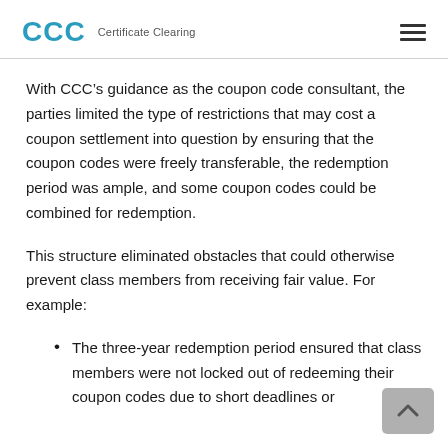CCC Certificate Clearing
With CCC’s guidance as the coupon code consultant, the parties limited the type of restrictions that may cost a coupon settlement into question by ensuring that the coupon codes were freely transferable, the redemption period was ample, and some coupon codes could be combined for redemption.
This structure eliminated obstacles that could otherwise prevent class members from receiving fair value. For example:
The three-year redemption period ensured that class members were not locked out of redeeming their coupon codes due to short deadlines or